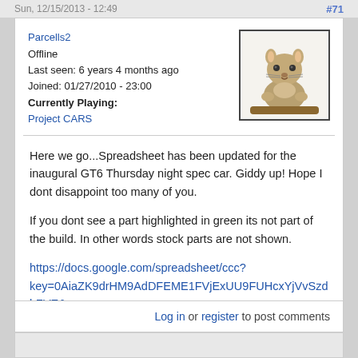Sun, 12/15/2013 - 12:49   #71
Parcells2
Offline
Last seen: 6 years 4 months ago
Joined: 01/27/2010 - 23:00
Currently Playing:
Project CARS
[Figure (photo): Avatar photo of a squirrel sitting on a branch, looking forward]
Here we go...Spreadsheet has been updated for the inaugural GT6 Thursday night spec car. Giddy up! Hope I dont disappoint too many of you.

If you dont see a part highlighted in green its not part of the build. In other words stock parts are not shown.

https://docs.google.com/spreadsheet/ccc?key=0AiaZK9drHM9AdDFEME1FVjExUU9FUHcxYjVvSzdhZVE&
Log in or register to post comments